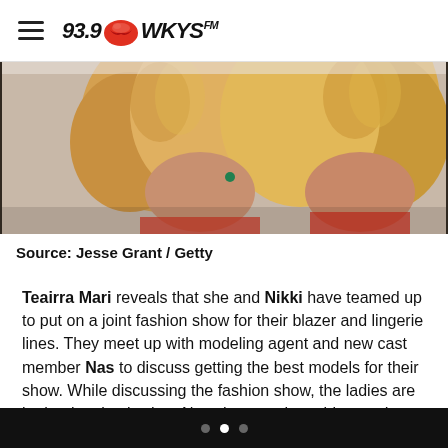93.9 WKYS FM
[Figure (photo): Close-up photo of two women with curly hair, one with red accessories and green earring, partially cropped]
Source: Jesse Grant / Getty
Teairra Mari reveals that she and Nikki have teamed up to put on a joint fashion show for their blazer and lingerie lines. They meet up with modeling agent and new cast member Nas to discuss getting the best models for their show. While discussing the fashion show, the ladies are both taken back when Nas changes the subject and reveals that she's been having man trouble with her lover Soulja Boy. Nas says she and Soulja Boy have been dealing with each other on and off for years and have even slept together as recently as two